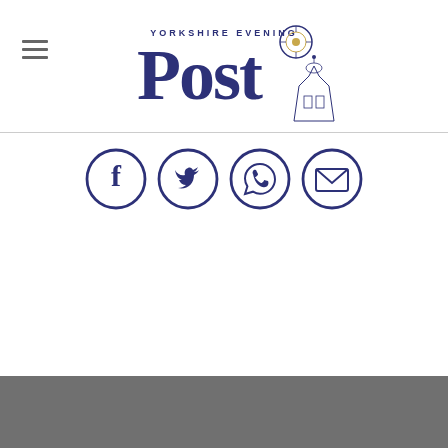Yorkshire Evening Post – newspaper masthead logo with hamburger menu
[Figure (logo): Yorkshire Evening Post masthead logo in dark blue/navy, with decorative rose emblem and architectural illustration]
[Figure (infographic): Four circular social media share icons in dark blue/navy: Facebook, Twitter, WhatsApp, Email]
Dark grey footer bar